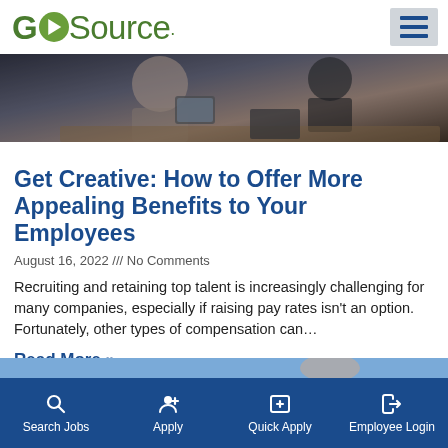GOSource
[Figure (photo): Two people at a desk, one holding a tablet, in a business/office setting]
Get Creative: How to Offer More Appealing Benefits to Your Employees
August 16, 2022 /// No Comments
Recruiting and retaining top talent is increasingly challenging for many companies, especially if raising pay rates isn't an option. Fortunately, other types of compensation can…
Read More »
Search Jobs   Apply   Quick Apply   Employee Login